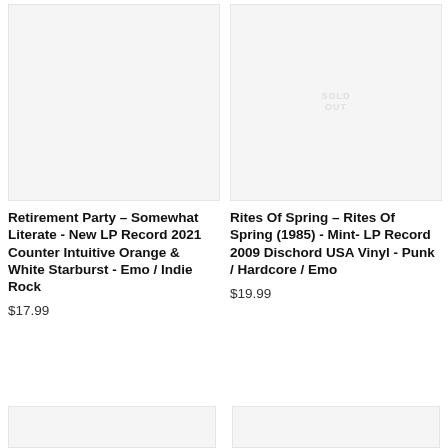[Figure (photo): Product image placeholder, light gray background, no image loaded]
[Figure (photo): Product image placeholder with SOLD OUT watermark text in light gray]
Retirement Party – Somewhat Literate - New LP Record 2021 Counter Intuitive Orange & White Starburst - Emo / Indie Rock
$17.99
Rites Of Spring – Rites Of Spring (1985) - Mint- LP Record 2009 Dischord USA Vinyl - Punk / Hardcore / Emo
$19.99
[Figure (photo): Bottom left product image placeholder, partially visible]
[Figure (photo): Bottom right product image placeholder, partially visible]